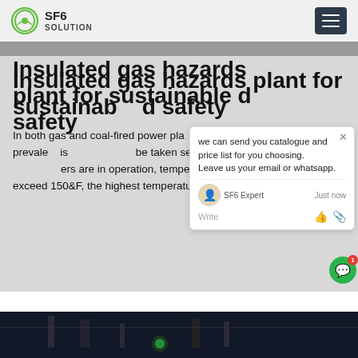SF6 SOLUTION
Insulated gas hazards plant for sustainable safety
In both gas and coal-fired power plants, temperatures are a very prevalent issue that must be taken seriously as a safety hazard. When boilers are in operation, temperatures in power plants can exceed 150&F, the highest temperature at which insulation
Get Price
[Figure (photo): Dark industrial power plant equipment photo at the bottom of the page]